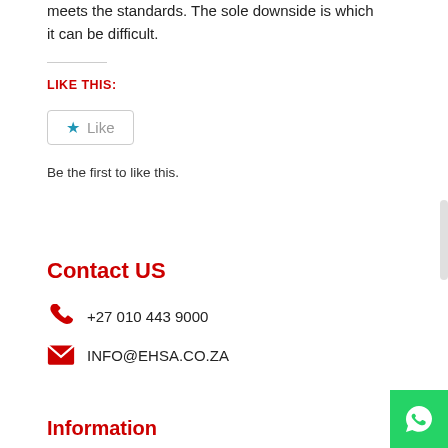meets the standards. The sole downside is which it can be difficult.
LIKE THIS:
[Figure (other): Like button widget with a blue star icon and the word Like, inside a rounded rectangle border]
Be the first to like this.
Contact US
+27 010 443 9000
INFO@EHSA.CO.ZA
Information